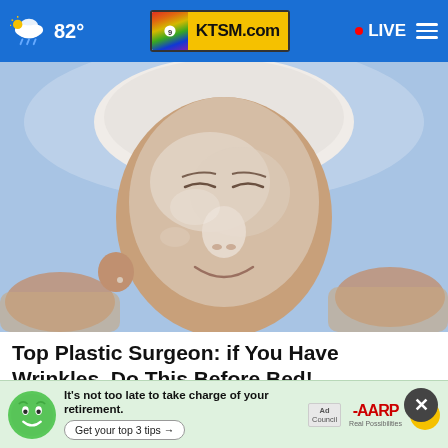82° KTSM.com • LIVE
[Figure (photo): Close-up of a woman's face with a clear gel/plastic mask applied, lying reclined with a white towel wrapped around her head, eyes closed and smiling, hands visible at edges]
Top Plastic Surgeon: if You Have Wrinkles, Do This Before Bed!
Extremely Effective Anti-aging
[Figure (infographic): AARP advertisement banner: green smiley face mascot, text 'It's not too late to take charge of your retirement. Get your top 3 tips →', Ad Council logo, AARP Real Possibilities logo, yellow sun icon with dollar sign]